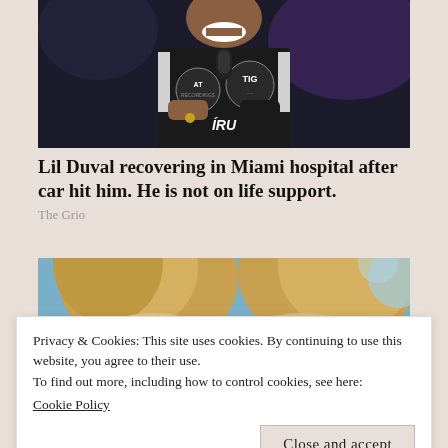[Figure (photo): Man smiling holding a microphone, wearing a black varsity jacket with logos including 'TIG' and 'TRU', performing on stage]
Lil Duval recovering in Miami hospital after car hit him. He is not on life support.
The Grio
[Figure (photo): Close-up of a blonde woman's head, partially cropped, against a blue sky background]
Privacy & Cookies: This site uses cookies. By continuing to use this website, you agree to their use.
To find out more, including how to control cookies, see here:
Cookie Policy
[Figure (photo): Partial view of a woman's face, cropped at bottom of page]